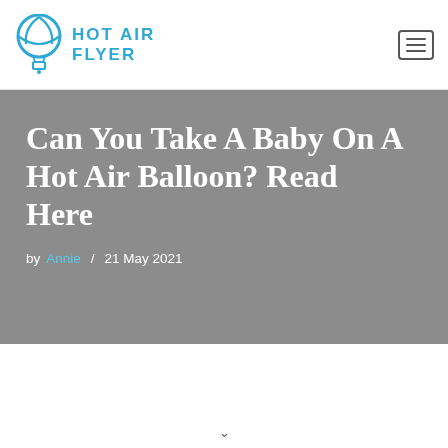[Figure (logo): Hot Air Flyer logo with hot air balloon icon and text 'HOT AIR FLYER' in blue]
Can You Take A Baby On A Hot Air Balloon? Read Here
by Annie / 21 May 2021